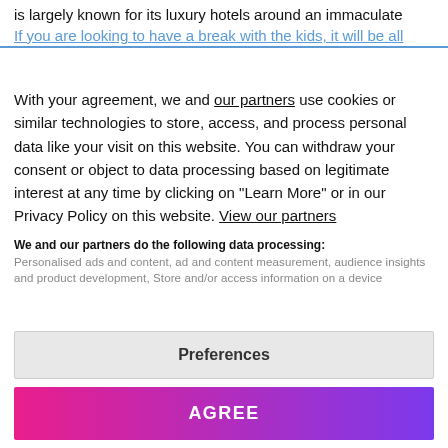is largely known for its luxury hotels around an immaculate
With your agreement, we and our partners use cookies or similar technologies to store, access, and process personal data like your visit on this website. You can withdraw your consent or object to data processing based on legitimate interest at any time by clicking on "Learn More" or in our Privacy Policy on this website. View our partners
We and our partners do the following data processing: Personalised ads and content, ad and content measurement, audience insights and product development, Store and/or access information on a device
Preferences
AGREE